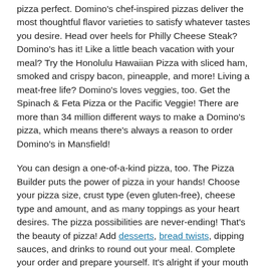pizza perfect. Domino's chef-inspired pizzas deliver the most thoughtful flavor varieties to satisfy whatever tastes you desire. Head over heels for Philly Cheese Steak? Domino's has it! Like a little beach vacation with your meal? Try the Honolulu Hawaiian Pizza with sliced ham, smoked and crispy bacon, pineapple, and more! Living a meat-free life? Domino's loves veggies, too. Get the Spinach & Feta Pizza or the Pacific Veggie! There are more than 34 million different ways to make a Domino's pizza, which means there's always a reason to order Domino's in Mansfield!
You can design a one-of-a-kind pizza, too. The Pizza Builder puts the power of pizza in your hands! Choose your pizza size, crust type (even gluten-free), cheese type and amount, and as many toppings as your heart desires. The pizza possibilities are never-ending! That's the beauty of pizza! Add desserts, bread twists, dipping sauces, and drinks to round out your meal. Complete your order and prepare yourself. It's alright if your mouth literally starts watering. A box full of deliciousness is about to be ready for takeout or delivery in Mansfield!
CURB EVERY CRAVING: PASTA, SANDWICH, OR CHICKEN WING DELIVERY IN MANSFIELD, OH